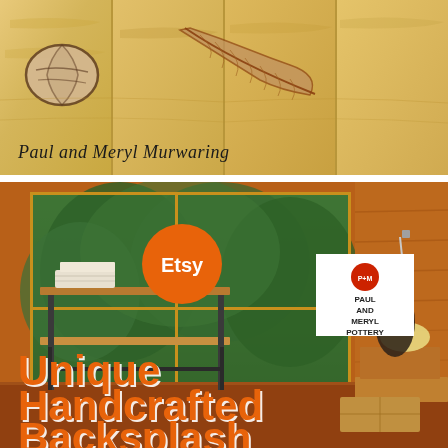[Figure (photo): Top image showing handcrafted ceramic tiles with painted artwork of a feather and a leaf/shell shape on a warm tan/yellow background, with a handwritten signature 'Paul and Meryl Murwaring' at the bottom left.]
[Figure (photo): Bottom image showing a pottery studio/workshop interior with wood-paneled walls, shelving with ceramic pieces, a green watering can, lamp, and wooden crates. Overlaid are an orange Etsy circular badge and a white Paul and Meryl Pottery logo badge. Large orange bold text reads 'Unique Handcrafted Backsplash' overlaid at the bottom.]